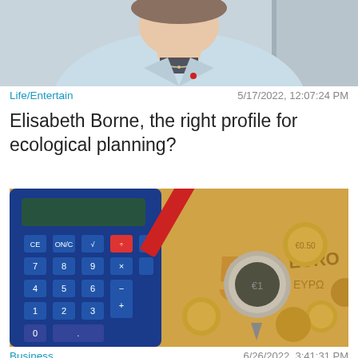[Figure (photo): Top portion of a photo showing a woman in a light blue blazer with a necklace, cropped at shoulders]
Life/Entertain    5/17/2022, 12:07:24 PM
Elisabeth Borne, the right profile for ecological planning?
[Figure (photo): Close-up photo of euro coins, a red pen/marker, and a blue calculator on euro banknotes]
Business    6/26/2022, 3:41:31 PM
The government wants to limit the rise
[Figure (screenshot): Advertisement banner for 'Cat Game' mobile app with text 'ADOPT A CAT NOW' and a Close X button overlay]